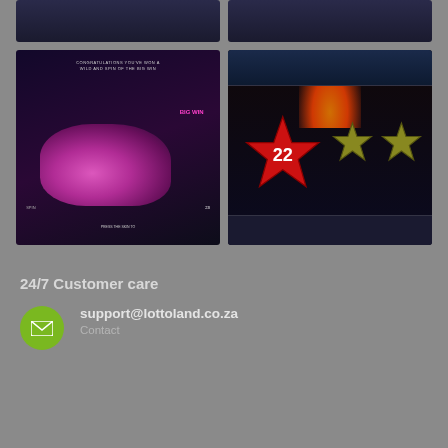[Figure (screenshot): Two partially visible game screenshots in top row - dark themed game UI]
[Figure (screenshot): Bottom left: Car game screenshot with pink sports car and stats overlay on dark purple background]
[Figure (screenshot): Bottom right: Slot machine game screenshot with red star symbols and neon lighting]
24/7 Customer care
support@lottoland.co.za
Contact